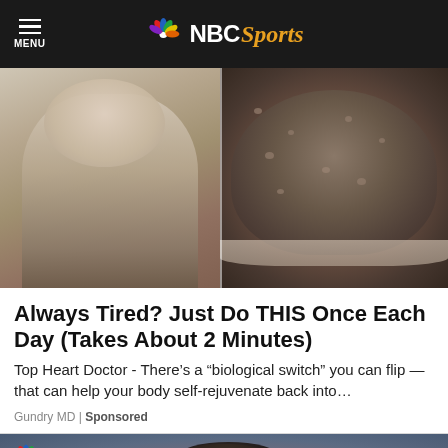MENU | NBC Sports
[Figure (photo): Advertisement image: man in suit pointing at something on the left half, bubbling dark substance in a bowl on the right half]
Always Tired? Just Do THIS Once Each Day (Takes About 2 Minutes)
Top Heart Doctor - There’s a “biological switch” you can flip — that can help your body self-rejuvenate back into…
Gundry MD | Sponsored
[Figure (photo): Sponsored article thumbnail: soccer player (appearing to be Cristiano Ronaldo) looking forward, with crowd in background; NBC Sports peacock logo overlay in top-left]